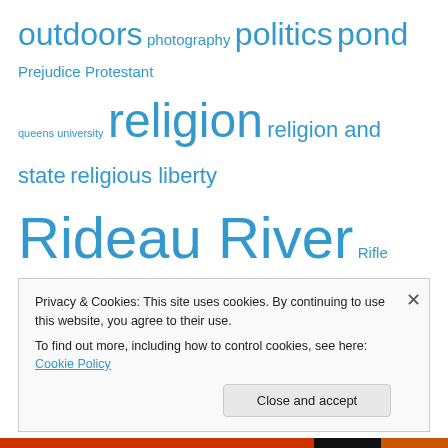outdoors photography politics pond Prejudice Protestant queens university religion religion and state religious liberty Rideau River Rifle Roman Catholic roman catholic church Roman Catholicism same sex attraction same sex marriage same sex relationships Shotgun songbird songbirds theology United States wild duck wildlife wildlife photos
Privacy & Cookies: This site uses cookies. By continuing to use this website, you agree to their use. To find out more, including how to control cookies, see here: Cookie Policy